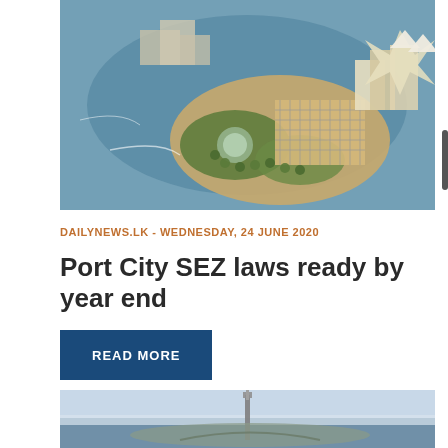[Figure (photo): Aerial architectural rendering of a coastal port city development with marina, boats, island with trees and buildings, surrounded by water]
DAILYNEWS.LK - WEDNESDAY, 24 JUNE 2020
Port City SEZ laws ready by year end
READ MORE
[Figure (photo): Aerial photo of coastal port city area with water and structures, partially visible at bottom of page]